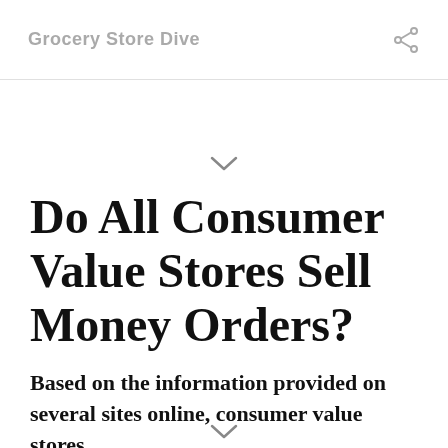Grocery Store Dive
Do All Consumer Value Stores Sell Money Orders?
Based on the information provided on several sites online, consumer value stores